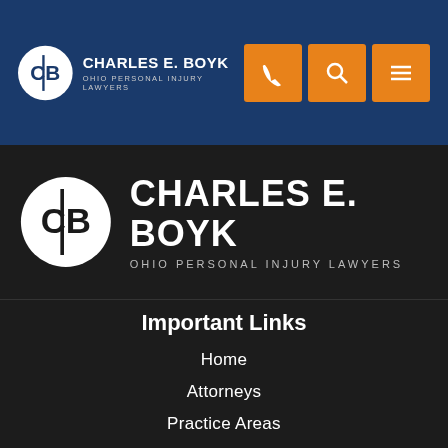[Figure (logo): Charles E. Boyk Ohio Personal Injury Lawyers logo in top navigation bar with orange phone, search, and menu icons]
[Figure (logo): Charles E. Boyk Ohio Personal Injury Lawyers large logo on dark background]
Important Links
Home
Attorneys
Practice Areas
Blog
Mass Torts
Locations